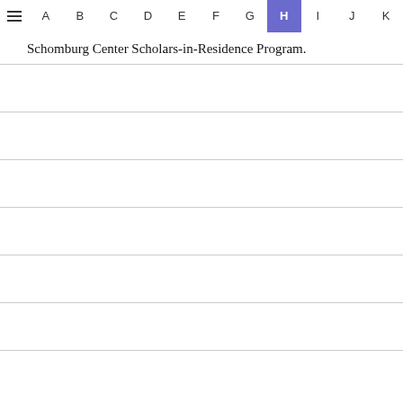≡  A  B  C  D  E  F  G  H  I  J  K
Schomburg Center Scholars-in-Residence Program.